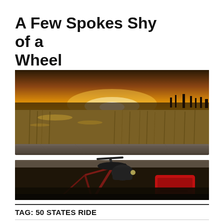A Few Spokes Shy of a Wheel
[Figure (photo): A bicycle with a black saddle, red panniers, and handlebar bag resting against a wooden fence rail, with a marsh landscape and golden sunset sky in the background.]
TAG: 50 STATES RIDE